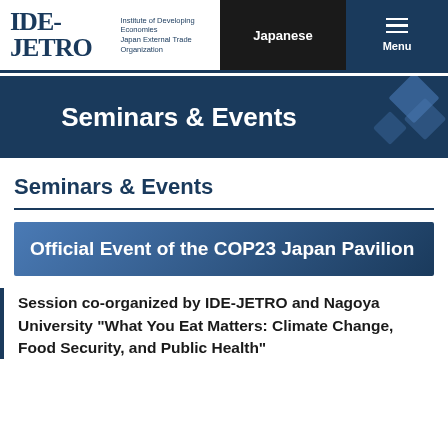IDE-JETRO Institute of Developing Economies Japan External Trade Organization | Japanese | Menu
Seminars & Events
Seminars & Events
Official Event of the COP23 Japan Pavilion
Session co-organized by IDE-JETRO and Nagoya University "What You Eat Matters: Climate Change, Food Security, and Public Health"